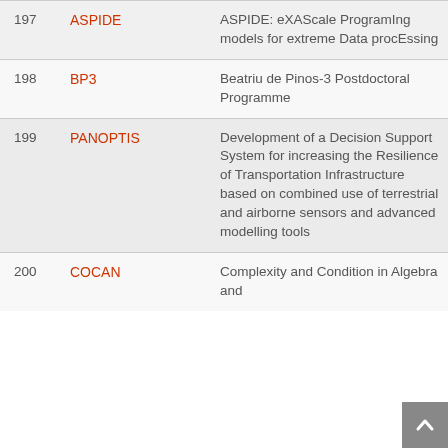| # | Acronym | Full Title |
| --- | --- | --- |
| 197 | ASPIDE | ASPIDE: eXAScale ProgramIng models for extreme Data procEssing |
| 198 | BP3 | Beatriu de Pinos-3 Postdoctoral Programme |
| 199 | PANOPTIS | Development of a Decision Support System for increasing the Resilience of Transportation Infrastructure based on combined use of terrestrial and airborne sensors and advanced modelling tools |
| 200 | COCAN | Complexity and Condition in Algebra and... |